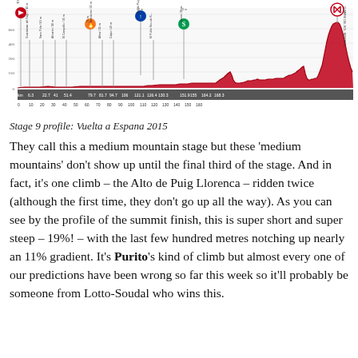[Figure (continuous-plot): Stage 9 elevation profile for Vuelta a Espana 2015, showing a mostly flat route from Torrevieja with climbs appearing in the final third. Red filled area shows elevation. Start icon (red arrow) at Torrevieja, intermediate sprint (blue circle with arrow), finish icon at Cumbre del Sol / Benitatxell. Various town labels with distances/elevations marked above. X-axis shows km markers from 0 to 160+.]
Stage 9 profile: Vuelta a Espana 2015
They call this a medium mountain stage but these 'medium mountains' don't show up until the final third of the stage. And in fact, it's one climb – the Alto de Puig Llorenca – ridden twice (although the first time, they don't go up all the way). As you can see by the profile of the summit finish, this is super short and super steep – 19%! – with the last few hundred metres notching up nearly an 11% gradient. It's Purito's kind of climb but almost every one of our predictions have been wrong so far this week so it'll probably be someone from Lotto-Soudal who wins this.